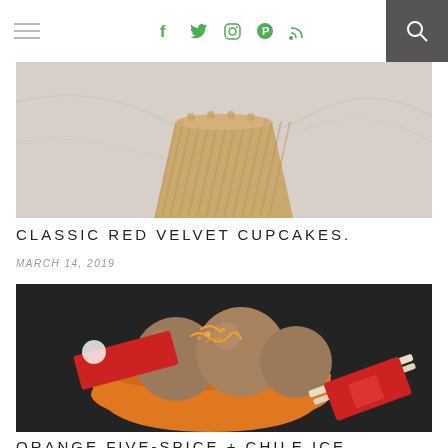Navigation bar with hamburger menu, social icons (f, twitter, instagram, pinterest, rss), and search
[Figure (photo): Partial top view of a cupcake in a ridged brown paper liner on a marble surface]
CLASSIC RED VELVET CUPCAKES.
MARCH 14, 2019
[Figure (photo): Orange bowl containing scoops of brown ice cream topped with orange zest, with chopsticks and red packets beside it on a dark surface]
ORANGE FIVE-SPICE + CHILE ICE CREAM.